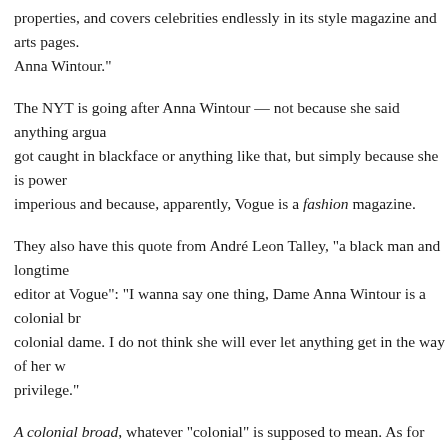properties, and covers celebrities endlessly in its style magazine and arts pages. Anna Wintour."
The NYT is going after Anna Wintour — not because she said anything arguable, got caught in blackface or anything like that, but simply because she is powerful, imperious and because, apparently, Vogue is a fashion magazine.
They also have this quote from André Leon Talley, "a black man and longtime editor at Vogue": "I wanna say one thing, Dame Anna Wintour is a colonial broad, colonial dame. I do not think she will ever let anything get in the way of her white privilege."
A colonial broad, whatever "colonial" is supposed to mean. As for "broad"... it's a blatantly sexist word, but sexism was last year's concern. This year it's race, and for some perverted reason, we can't concern ourselves with both at the same time.
She is literally a "Dame" — I'm reading that at Wikipedia, where I also learn that she lives in Greenwich Village, rises before 6 a.m., "rarely stays at parties for more than 40 minutes at a time and goes to bed by 10:15 every night." For lunch she eats "a steak (or a chopped hamburger)" but years ago it was "smoked salmon and scrambled eggs every s